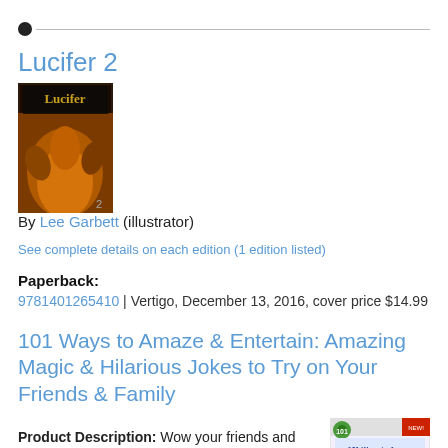[Figure (other): Horizontal timeline divider with a filled black dot on the left and a thin grey line extending to the right]
Lucifer 2
[Figure (photo): Book cover of Lucifer 2 showing stylized illustrated artwork with the title 'Lucifer' at the top]
By Lee Garbett (illustrator)
See complete details on each edition (1 edition listed)
Paperback:
9781401265410 | Vertigo, December 13, 2016, cover price $14.99
101 Ways to Amaze & Entertain: Amazing Magic & Hilarious Jokes to Try on Your Friends & Family
Product Description: Wow your friends and family with 101 simple magic tricks, gag ideas, hilarious comics, and funny jokes that will
[Figure (photo): Book cover of '101 Ways to Amaze & Entertain' showing a magician's hat and glasses]